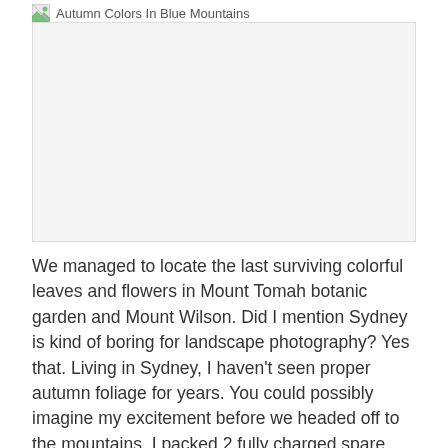Autumn Colors In Blue Mountains
[Figure (photo): Broken/unloaded image placeholder for 'Autumn Colors In Blue Mountains']
We managed to locate the last surviving colorful leaves and flowers in Mount Tomah botanic garden and Mount Wilson. Did I mention Sydney is kind of boring for landscape photography? Yes that. Living in Sydney, I haven't seen proper autumn foliage for years. You could possibly imagine my excitement before we headed off to the mountains. I packed 2 fully charged spare batteries for camera, 2 empty memory cards and